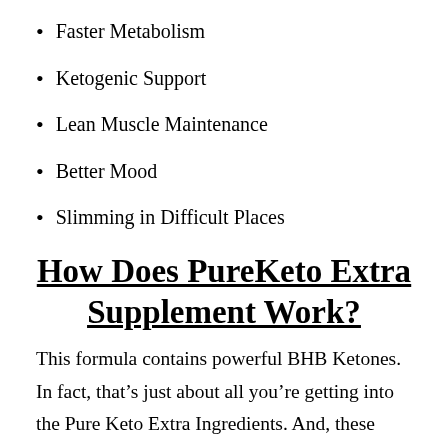Faster Metabolism
Ketogenic Support
Lean Muscle Maintenance
Better Mood
Slimming in Difficult Places
How Does PureKeto Extra Supplement Work?
This formula contains powerful BHB Ketones. In fact, that’s just about all you’re getting into the Pure Keto Extra Ingredients. And, these BHB Ketones are clinically proven molecules that trigger ketosis in your body. Plus, if you retain making this formula a day just like the directions say, you’ll KEEP your body within the fat-burning zone of ketosis. So the longer you take it, the better your